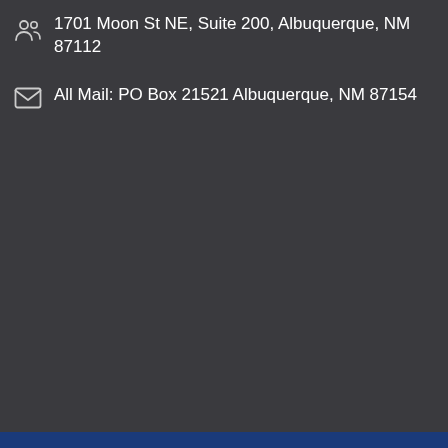1701 Moon St NE, Suite 200, Albuquerque, NM 87112
All Mail: PO Box 21521 Albuquerque, NM 87154